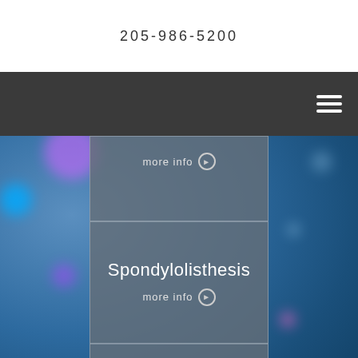205-986-5200
[Figure (screenshot): Navigation bar with hamburger menu icon on dark gray background]
[Figure (screenshot): Blue bokeh blurred background with semi-transparent gray cards in center column. Top card shows 'more info' link. Middle card shows 'Spondylolisthesis' title and 'more info' link. Bottom card is partially visible.]
more info
Spondylolisthesis
more info